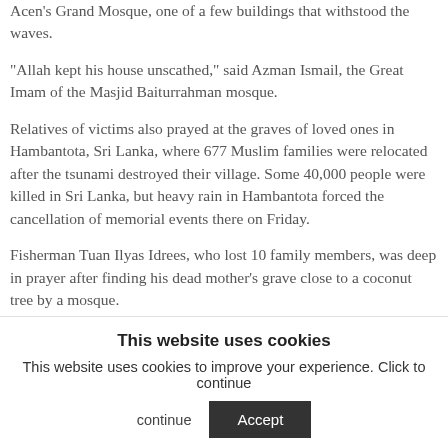Acen's Grand Mosque, one of a few buildings that withstood the waves.
“Allah kept his house unscathed,” said Azman Ismail, the Great Imam of the Masjid Baiturrahman mosque.
Relatives of victims also prayed at the graves of loved ones in Hambantota, Sri Lanka, where 677 Muslim families were relocated after the tsunami destroyed their village. Some 40,000 people were killed in Sri Lanka, but heavy rain in Hambantota forced the cancellation of memorial events there on Friday.
Fisherman Tuan Ilyas Idrees, who lost 10 family members, was deep in prayer after finding his dead mother’s grave close to a coconut tree by a mosque.
This website uses cookies
This website uses cookies to improve your experience. Click to continue
Accept